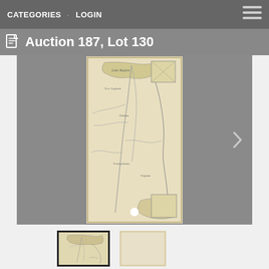CATEGORIES · LOGIN
Auction 187, Lot 130
[Figure (photo): Main slideshow area showing an antique map of the northeastern United States/colonial America region. The map is rendered in sepia/cream tones with hand-drawn style coastlines, rivers, and place names. A white circular dot indicator is visible at the bottom center. A right-facing navigation arrow is on the right side.]
[Figure (photo): Thumbnail 1 (selected, with black border): Small version of the antique map showing the same colonial northeastern America map.]
[Figure (photo): Thumbnail 2: A plain cream/beige reverse side or blank page of the map document.]